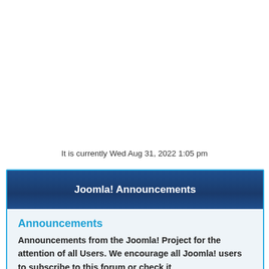It is currently Wed Aug 31, 2022 1:05 pm
Joomla! Announcements
Announcements
Announcements from the Joomla! Project for the attention of all Users. We encourage all Joomla! users to subscribe to this forum or check it